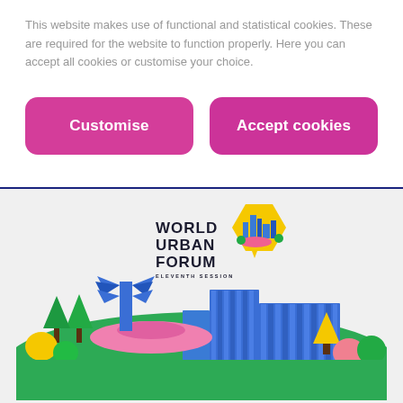This website makes use of functional and statistical cookies. These are required for the website to function properly. Here you can accept all cookies or customise your choice.
[Figure (other): Customise button - pink/magenta rounded rectangle with white bold text 'Customise']
[Figure (other): Accept cookies button - pink/magenta rounded rectangle with white bold text 'Accept cookies']
[Figure (logo): World Urban Forum Eleventh Session logo with illustrated city buildings, trees, and scenery in colorful geometric style. Text reads WORLD URBAN FORUM ELEVENTH SESSION with a hexagonal badge icon.]